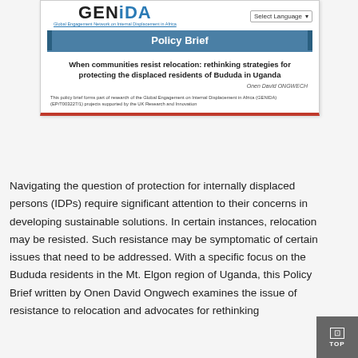[Figure (logo): GENiDA logo with tagline 'Global Engagement Network on Internal Displacement in Africa' and a Select Language dropdown]
Policy Brief
When communities resist relocation: rethinking strategies for protecting the displaced residents of Bududa in Uganda
Onen David ONGWECH
This policy brief forms part of research of the Global Engagement on Internal Displacement in Africa (GENIDA) (EP/T003227/1) projects supported by the UK Research and Innovation
Navigating the question of protection for internally displaced persons (IDPs) require significant attention to their concerns in developing sustainable solutions. In certain instances, relocation may be resisted. Such resistance may be symptomatic of certain issues that need to be addressed. With a specific focus on the Bududa residents in the Mt. Elgon region of Uganda, this Policy Brief written by Onen David Ongwech examines the issue of resistance to relocation and advocates for rethinking